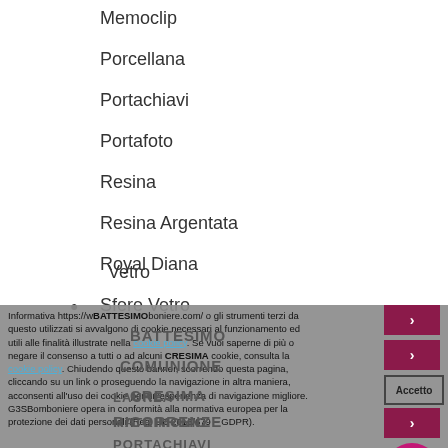Memoclip
Porcellana
Portachiavi
Portafoto
Resina
Resina Argentata
Royal Diana
Sfere Vetro
Vetro
BATTESIMO
COMUNIONE
CRESIMA
RICORRENZE
PORTACHIAVI
LAUREA
MATRIMONIO
Informativa https://www.g3sbomboniere.com/ o gli strumenti terzi da questo utilizzati si avvalgono di cookie necessari al funzionamento ed utili alle finalità illustrate nella cookie policy. Se vuoi saperne di più o negare il consenso a tutti o ad alcuni cookie, consulta la cookie policy. Chiudendo questo banner, scorrendo questa pagina, cliccando su un link o proseguendo la navigazione in altra maniera, acconsenti all'uso dei cookie per un'esperienza di navigazione migliore. G3SBomboniere opera in conformità alla normativa europea per la protezione dei dati personali (Reg. UE 2016/679 – GDPR).
Accetto